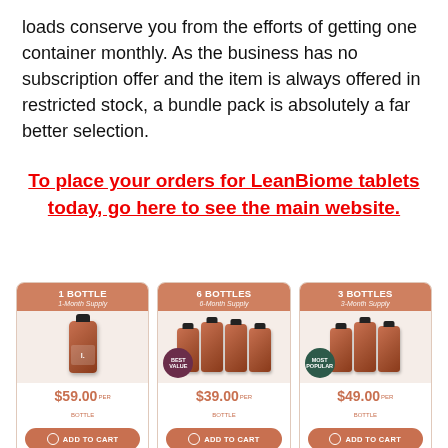loads conserve you from the efforts of getting one container monthly. As the business has no subscription offer and the item is always offered in restricted stock, a bundle pack is absolutely a far better selection.
To place your orders for LeanBiome tablets today, go here to see the main website.
[Figure (other): Pricing cards for LeanBiome supplement: 1 Bottle (1-Month Supply) $59.00 per bottle, Total $129 $59.00; 6 Bottles (6-Month Supply) $39.00 per bottle, Best Value badge, Total $774 $234.00; 3 Bottles (3-Month Supply) $49.00 per bottle, Most Popular badge, Total $382 $147.00. Each card has an Add to Cart button and You save amounts.]